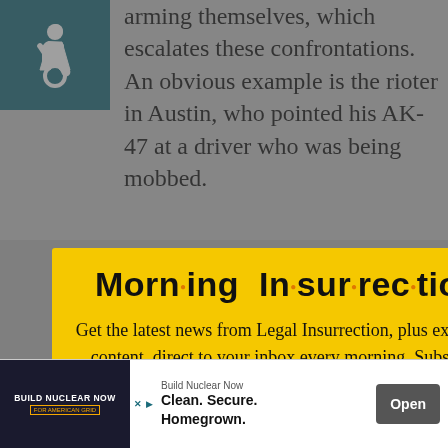[Figure (screenshot): Background webpage content showing article text and accessibility icon. Text reads: 'arming themselves, which escalates these confrontations. An obvious example is the rioter in Austin, who pointed his AK-47 at a driver who was being mobbed.']
[Figure (screenshot): Modal popup with yellow background. Title: 'Morning Insurrection' with orange dots between syllables. Body text: 'Get the latest news from Legal Insurrection, plus exclusive content, direct to your inbox every morning. Subscribe today – it's free!' Orange JOIN NOW button with envelope icon. Close X button top right.]
[Figure (screenshot): Advertisement banner at bottom: Build Nuclear Now - Clean. Secure. Homegrown. with Open button.]